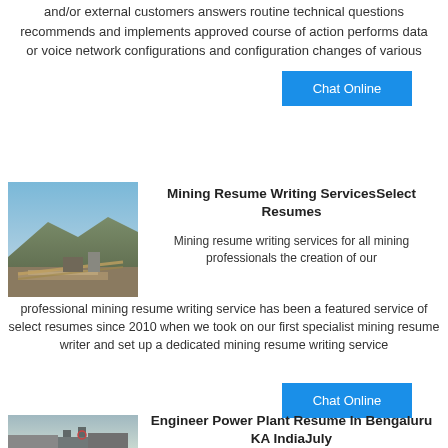and/or external customers answers routine technical questions recommends and implements approved course of action performs data or voice network configurations and configuration changes of various
[Figure (other): Blue Chat Online button]
[Figure (photo): Photo of a mining facility with conveyor belts and mountains in the background]
Mining Resume Writing ServicesSelect Resumes
Mining resume writing services for all mining professionals the creation of our professional mining resume writing service has been a featured service of select resumes since 2010 when we took on our first specialist mining resume writer and set up a dedicated mining resume writing service
[Figure (other): Blue Chat Online button]
[Figure (photo): Photo of a power plant or industrial facility]
Engineer Power Plant Resume In Bengaluru KA IndiaJuly